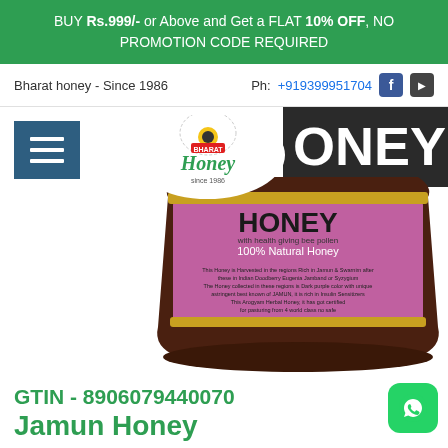BUY Rs.999/- or Above and Get a FLAT 10% OFF, NO PROMOTION CODE REQUIRED
Bharat honey - Since 1986   Ph: +919399951704
[Figure (screenshot): Bharat Honey website screenshot showing product image of Jamun Honey jar with logo overlay, hamburger menu, navigation bar, and WhatsApp button]
GTIN - 8906079440070
Jamun Honey